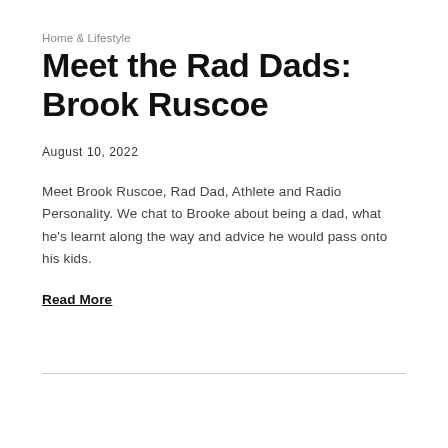Home & Lifestyle
Meet the Rad Dads: Brook Ruscoe
August 10, 2022
Meet Brook Ruscoe, Rad Dad, Athlete and Radio Personality. We chat to Brooke about being a dad, what he's learnt along the way and advice he would pass onto his kids.
Read More